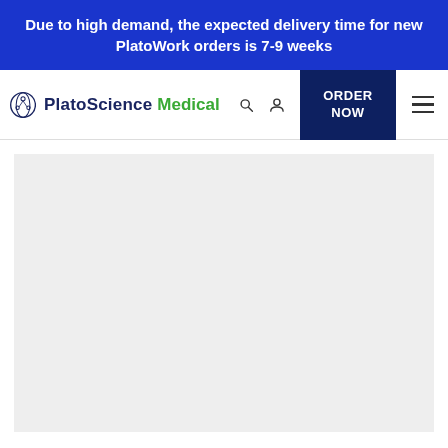Due to high demand, the expected delivery time for new PlatoWork orders is 7-9 weeks
[Figure (logo): PlatoScience Medical logo with navigation bar including search icon, account icon, ORDER NOW button, and hamburger menu]